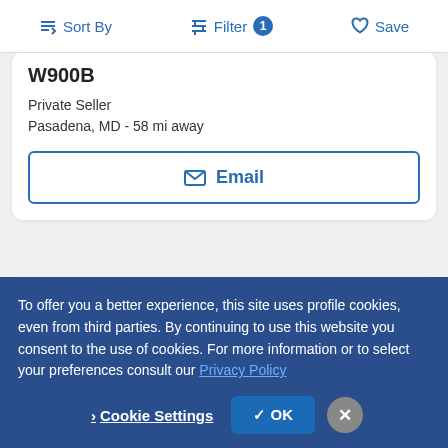Sort By  Filter 1  Save
W900B
Private Seller
Pasadena, MD - 58 mi away
Email
Premium
To offer you a better experience, this site uses profile cookies, even from third parties. By continuing to use this website you consent to the use of cookies. For more information or to select your preferences consult our Privacy Policy
Cookie Settings  ✓ OK